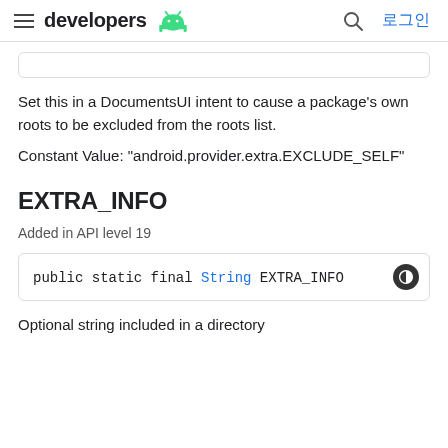developers  로그인
Set this in a DocumentsUI intent to cause a package's own roots to be excluded from the roots list.
Constant Value: "android.provider.extra.EXCLUDE_SELF"
EXTRA_INFO
Added in API level 19
public static final String EXTRA_INFO
Optional string included in a directory